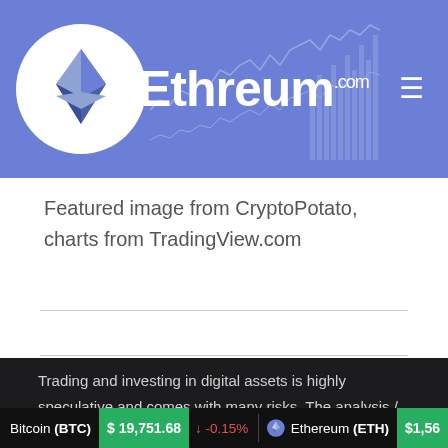Ethreum.com
Featured image from CryptoPotato, charts from TradingView.com
Trading and investing in digital assets is highly speculative and comes with many risks. The analysis / stats / articles on Ethreum.com are for informational purposes and should not be considered investment advice. Statements and financial information on Ethreum.com should not be construed as an endorsement or recommendation to buy, sell or
Bitcoin (BTC) $19,751.68 ↓ -0.15%  Ethereum (ETH) $1,56